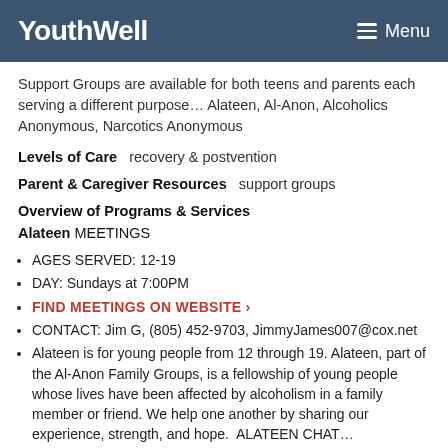YouthWell   Menu
Support Groups are available for both teens and parents each serving a different purpose… Alateen, Al-Anon, Alcoholics Anonymous, Narcotics Anonymous
Levels of Care   recovery & postvention
Parent & Caregiver Resources   support groups
Overview of Programs & Services
Alateen MEETINGS
AGES SERVED: 12-19
DAY: Sundays at 7:00PM
FIND MEETINGS ON WEBSITE >
CONTACT: Jim G, (805) 452-9703, JimmyJames007@cox.net
Alateen is for young people from 12 through 19. Alateen, part of the Al-Anon Family Groups, is a fellowship of young people whose lives have been affected by alcoholism in a family member or friend. We help one another by sharing our experience, strength, and hope.  ALATEEN CHAT…